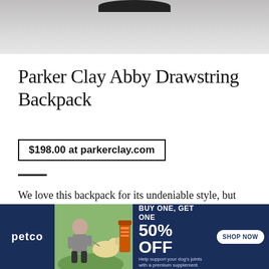[Figure (photo): Top portion of a product photo of Parker Clay Abby Drawstring Backpack against a light gray background, showing the top of the bag]
Parker Clay Abby Drawstring Backpack
$198.00 at parkerclay.com
We love this backpack for its undeniable style, but also because each purchase provides four hours of employment to Parker Clay's team in Ethiopia.
[Figure (infographic): Petco advertisement banner with dark navy blue background. Shows woman with dog and supplement bottle. Text reads: BUY ONE, GET ONE 50% OFF. Help support your dog's joints with a premium supplement. SHOP NOW button on right. Petco logo on left.]